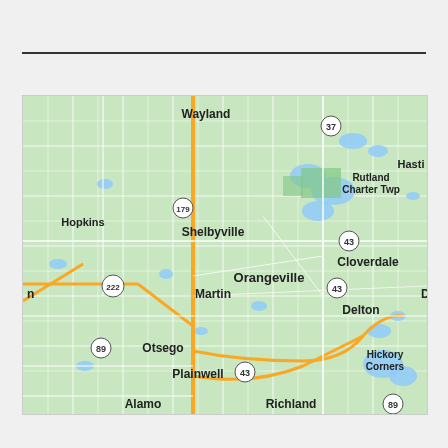[Figure (map): Google Maps style road map showing area in Michigan including towns: Wayland, Hopkins, Shelbyville, Martin, Orangeville, Rutland Charter Twp, Hastings, Cloverdale, Delton, Hickory Corners, Otsego, Plainwell, Alamo, Richland, and route numbers 37, 43, 89, 179, 222.]